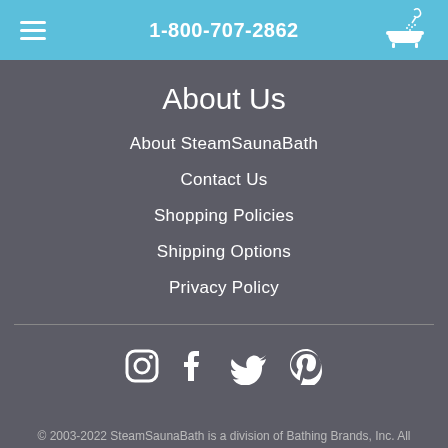1-800-707-2862
About Us
About SteamSaunaBath
Contact Us
Shopping Policies
Shipping Options
Privacy Policy
[Figure (other): Social media icons: Instagram, Facebook, Twitter, Pinterest]
© 2003-2022 SteamSaunaBath is a division of Bathing Brands, Inc. All Rights Reserved.